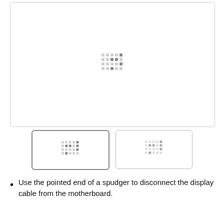[Figure (photo): Large image placeholder with a loading spinner (dot grid) in the center, inside a rounded rectangle border.]
[Figure (photo): Thumbnail 1: smaller image placeholder with loading spinner, inside a rounded rectangle with dark border (selected state).]
[Figure (photo): Thumbnail 2: smaller image placeholder with loading spinner, inside a rounded rectangle border.]
Use the pointed end of a spudger to disconnect the display cable from the motherboard.